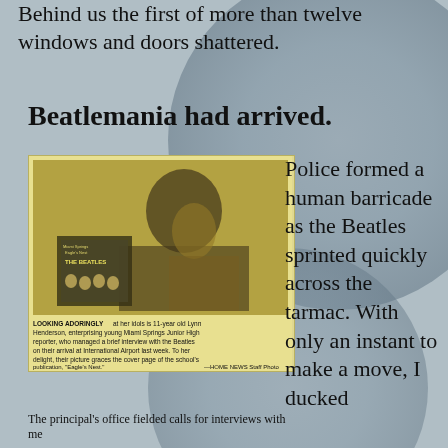Behind us the first of more than twelve windows and doors shattered.
Beatlemania had arrived.
[Figure (photo): Newspaper clipping showing a young woman looking adoringly at a Beatles album. Caption reads: LOOKING ADORINGLY at her idols is 11-year old Lynn Henderson, enterprising young Miami Springs Junior High reporter, who managed a brief interview with the Beatles on their arrival at International Airport last week. To her delight, their picture graces the cover page of the school's publication, 'Eagle's Nest.' —HOME NEWS Staff Photo]
Police formed a human barricade as the Beatles sprinted quickly across the tarmac. With only an instant to make a move, I ducked
The principal's office fielded calls for interviews with me